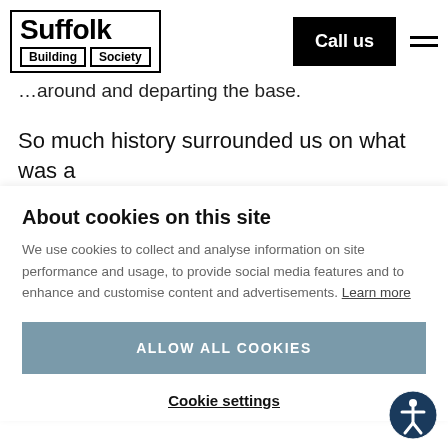Suffolk Building Society — Call us / menu
…around and departing the base.
So much history surrounded us on what was a wonderful member event, which attracted a vast
About cookies on this site
We use cookies to collect and analyse information on site performance and usage, to provide social media features and to enhance and customise content and advertisements. Learn more
ALLOW ALL COOKIES
Cookie settings